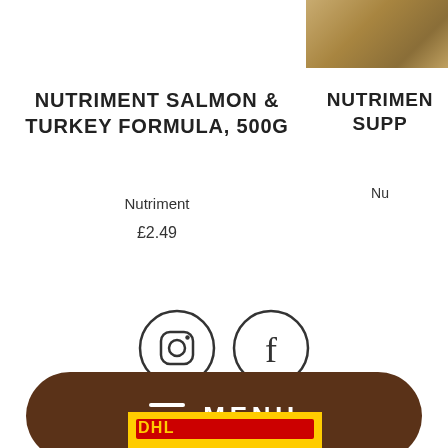NUTRIMENT SALMON & TURKEY FORMULA, 500g
Nutriment
£2.49
NUTRIMEN... SUPP...
Nu...
[Figure (illustration): Instagram and Facebook social media icons in circles]
Search
Why Feed Raw?
About Us
Contact Us
Delivery Information
Terms of Service
Refund policy
[Figure (illustration): Brown rounded rectangle MENU button with hamburger icon]
[Figure (logo): DHL logo partial at bottom]